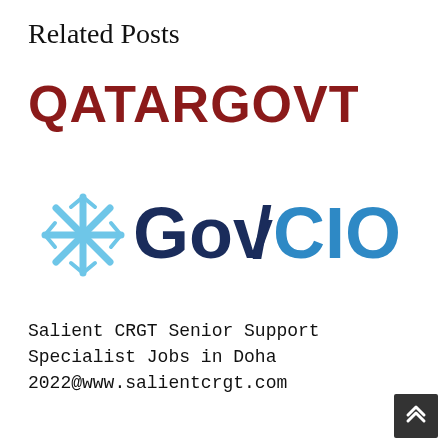Related Posts
[Figure (logo): QATARGOVTJOBS logo in dark red/maroon bold text]
[Figure (logo): GovCIO logo with blue starburst/snowflake icon on left, dark navy GovCIO wordmark]
Salient CRGT Senior Support Specialist Jobs in Doha 2022@www.salientcrgt.com
[Figure (other): Back to top button - dark grey square with double up-arrow chevron]